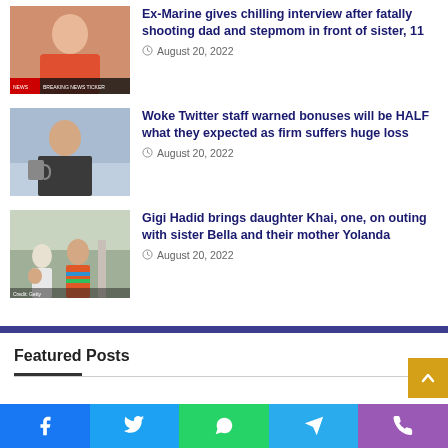[Figure (photo): Man in orange shirt seated, news ticker at bottom]
Ex-Marine gives chilling interview after fatally shooting dad and stepmom in front of sister, 11
August 20, 2022
[Figure (photo): Man in office or cafe setting looking surprised]
Woke Twitter staff warned bonuses will be HALF what they expected as firm suffers huge loss
August 20, 2022
[Figure (photo): People outdoors, child and adults near a fountain]
Gigi Hadid brings daughter Khai, one, on outing with sister Bella and their mother Yolanda
August 20, 2022
Featured Posts